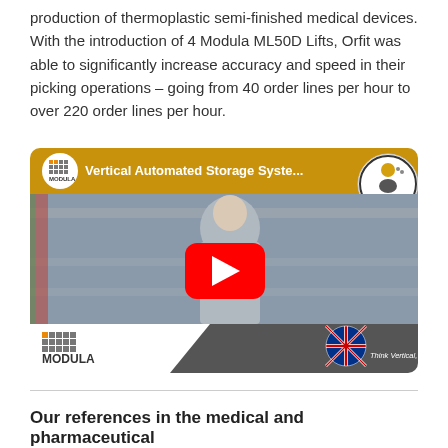production of thermoplastic semi-finished medical devices. With the introduction of 4 Modula ML50D Lifts, Orfit was able to significantly increase accuracy and speed in their picking operations – going from 40 order lines per hour to over 220 order lines per hour.
[Figure (screenshot): YouTube video thumbnail for 'Vertical Automated Storage Syste...' by Modula, showing a man standing in a warehouse, with a play button overlay, Modula logo in top bar, 'Case Study' badge top right, and 'Think Vertical, Think Modula' branding with flags at bottom.]
Our references in the medical and pharmaceutical